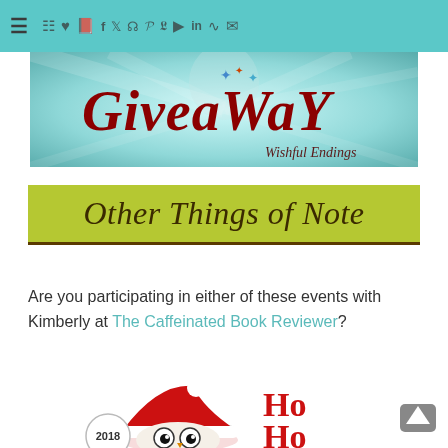≡ Navigation icons: cart, heart, book, f, twitter, instagram, pinterest, tumblr, youtube, linkedin, rss, email
[Figure (illustration): Giveaway banner with teal/turquoise background, large dark red dotted text reading 'GiveaWaY' with colorful stars, and 'Wishful Endings' in italic script at bottom right]
Other Things of Note
Are you participating in either of these events with Kimberly at The Caffeinated Book Reviewer?
[Figure (illustration): Christmas themed image with Santa hat cartoon character, year bubble showing '2018', and large red 'Ho Ho' text]